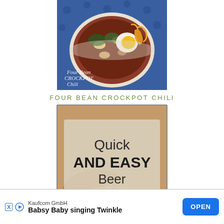[Figure (photo): Photo of a bowl of Four Bean Crockpot Chili with cheese and toppings on a blue polka dot background]
FOUR BEAN CROCKPOT CHILI
[Figure (photo): Photo of Quick and Easy Beer Bread with text overlay reading 'Quick AND EASY Beer Bread BREAD']
QUICK AND EASY BEER BREAD
BECOME A VIP INSIDER TODAY
[Figure (screenshot): Advertisement for Kaufcom GmbH - Babsy Baby singing Twinkle app with OPEN button]